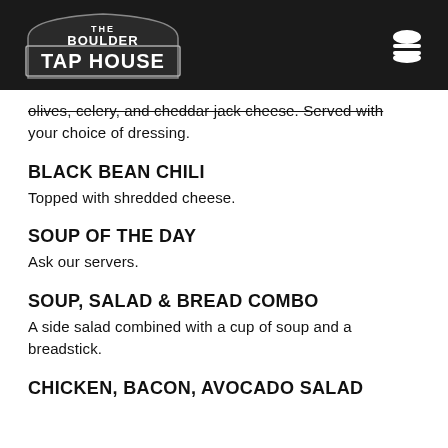The Boulder Tap House
olives, celery, and cheddar jack cheese. Served with your choice of dressing.
BLACK BEAN CHILI
Topped with shredded cheese.
SOUP OF THE DAY
Ask our servers.
SOUP, SALAD & BREAD COMBO
A side salad combined with a cup of soup and a breadstick.
CHICKEN, BACON, AVOCADO SALAD